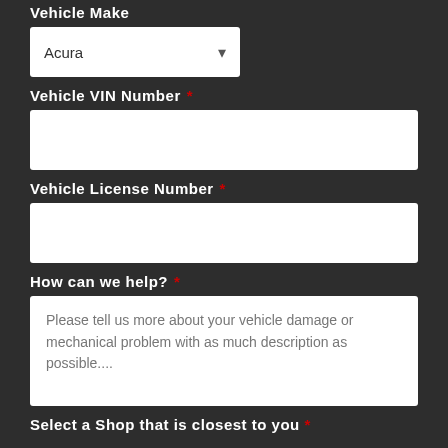Vehicle Make
Acura (dropdown)
Vehicle VIN Number *
(empty text input)
Vehicle License Number *
(empty text input)
How can we help? *
Please tell us more about your vehicle damage or mechanical problem with as much description as possible....
Select a Shop that is closest to you *